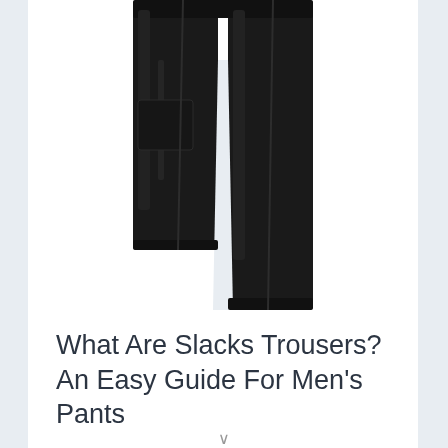[Figure (photo): Black slacks/trousers shown from the waist down, displayed against a white background. The trousers are straight-leg style in dark black fabric.]
What Are Slacks Trousers? An Easy Guide For Men's Pants
It would be redundant to call a garment that covers the waist down to the ankles slack trousers, but for the sake…
v